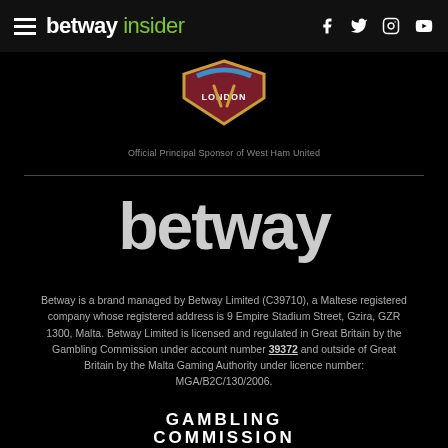betway insider — navigation header with social icons
[Figure (logo): West Ham United crest/badge in dark maroon and gold on black background, with 'LONDON' text]
Official Principal Sponsor of West Ham United
[Figure (logo): betway wordmark in large bold grey/white text on black background]
Betway is a brand managed by Betway Limited (C39710), a Maltese registered company whose registered address is 9 Empire Stadium Street, Gzira, GZR 1300, Malta. Betway Limited is licensed and regulated in Great Britain by the Gambling Commission under account number 39372 and outside of Great Britain by the Malta Gaming Authority under licence number: MGA/B2C/130/2006.
[Figure (logo): GAMBLING COMMISSION logo text in white on black, partially cut off at bottom]